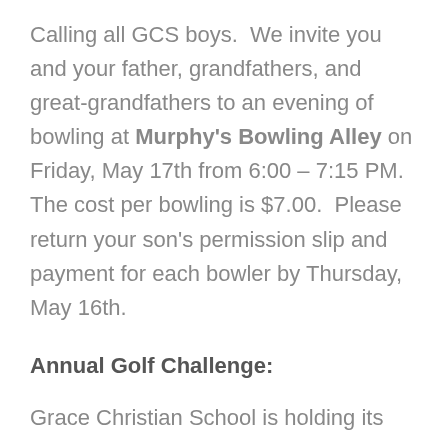Calling all GCS boys.  We invite you and your father, grandfathers, and great-grandfathers to an evening of bowling at Murphy's Bowling Alley on Friday, May 17th from 6:00 – 7:15 PM.  The cost per bowling is $7.00.  Please return your son's permission slip and payment for each bowler by Thursday, May 16th.
Annual Golf Challenge:
Grace Christian School is holding its